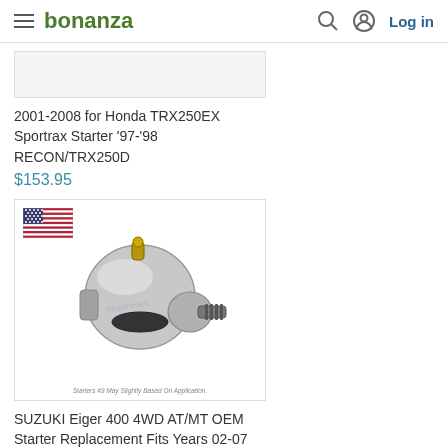bonanza — Log in
[Figure (photo): Partial product image (top cut off) for Honda TRX250EX starter product]
2001-2008 for Honda TRX250EX Sportrax Starter '97-'98 RECON/TRX250D
$153.95
[Figure (photo): Starter motor replacement part with US flag icon and watermark. Caption: Starters #9 May Slightly Based On Application.]
SUZUKI Eiger 400 4WD AT/MT OEM Starter Replacement Fits Years 02-07